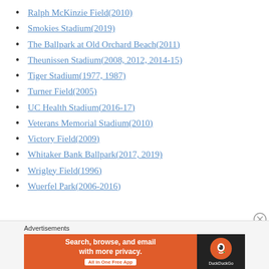Ralph McKinzie Field(2010)
Smokies Stadium(2019)
The Ballpark at Old Orchard Beach(2011)
Theunissen Stadium(2008, 2012, 2014-15)
Tiger Stadium(1977, 1987)
Turner Field(2005)
UC Health Stadium(2016-17)
Veterans Memorial Stadium(2010)
Victory Field(2009)
Whitaker Bank Ballpark(2017, 2019)
Wrigley Field(1996)
Wuerfel Park(2006-2016)
Advertisements